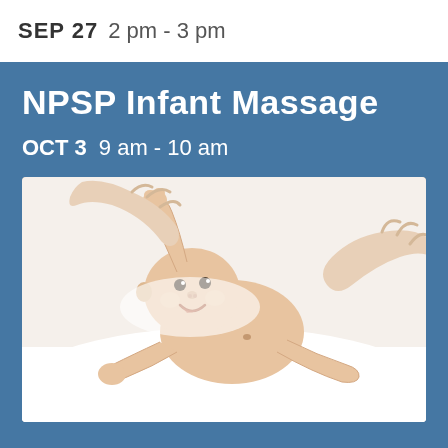SEP 27  2 pm - 3 pm
NPSP Infant Massage
OCT 3   9 am - 10 am
[Figure (photo): Smiling baby lying on back on white surface being given a massage by adult hands]